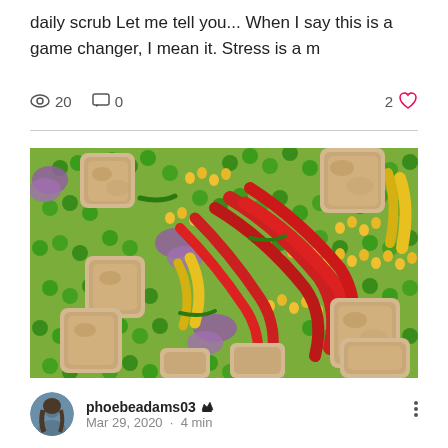daily scrub Let me tell you... When I say this is a game changer, I mean it. Stress is a m
20   0   2
[Figure (photo): Close-up photo of a colorful mixed vegetable and chicken dish with red peppers, green peas, yellow corn, purple onion, and white chicken pieces]
phoebeadams03 ▲ Mar 29, 2020 · 4 min